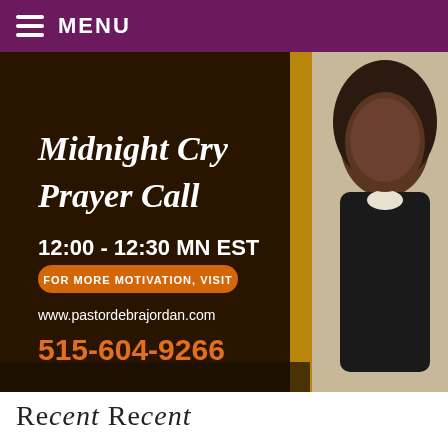MENU
[Figure (photo): Promotional banner for Midnight Cry Prayer Call featuring a woman in a black suit smiling with arms crossed. Text reads: 'Midnight Cry Prayer Call', '12:00 - 12:30 MN EST', 'FOR MORE MOTIVATION, VISIT', 'www.pastordebrajordan.com', '515-604-9266'. Dark brown background on left, gold vertical stripe, photo on right.]
Recent Recent